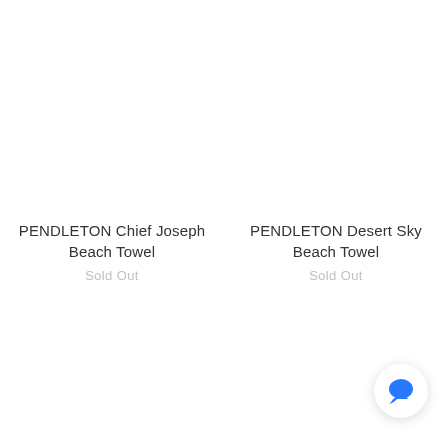PENDLETON Chief Joseph Beach Towel
Sold Out
PENDLETON Desert Sky Beach Towel
Sold Out
[Figure (illustration): Chat bubble icon (blue speech bubble) in bottom-right corner]